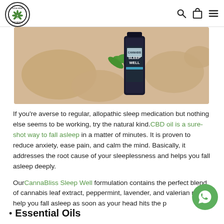India Hemp Organics – navigation with logo, search, bag, and menu icons
[Figure (photo): Product photo of CannaBliss Sleep Well CBD oil bottle surrounded by smooth stones and a cannabis leaf on a warm beige background]
If you're averse to regular, allopathic sleep medication but nothing else seems to be working, try the natural kind. CBD oil is a sure-shot way to fall asleep in a matter of minutes. It is proven to reduce anxiety, ease pain, and calm the mind. Basically, it addresses the root cause of your sleeplessness and helps you fall asleep deeply.
Our CannaBliss Sleep Well formulation contains the perfect blend of cannabis leaf extract, peppermint, lavender, and valerian root to help you fall asleep as soon as your head hits the p
Essential Oils